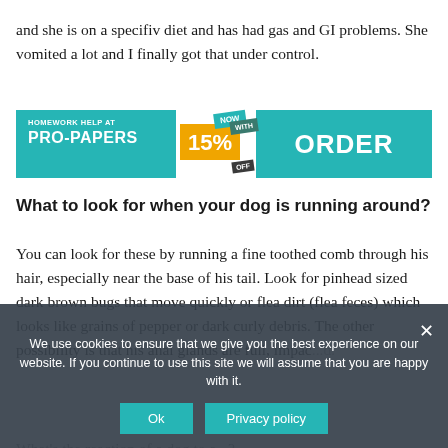and she is on a specifiv diet and has had gas and GI problems. She vomited a lot and I finally got that under control.
[Figure (infographic): Advertisement banner for Pro-Papers homework help service showing brand name, a 15% off badge, and an ORDER button, all in teal color scheme.]
What to look for when your dog is running around?
You can look for these by running a fine toothed comb through his hair, especially near the base of his tail. Look for pinhead sized dark brown bugs that move quickly or flea dirt (flea feces) which looks like grains of pepper or dark curly debris. The other possibility is that his anal glands are full, impac...d.
We use cookies to ensure that we give you the best experience on our website. If you continue to use this site we will assume that you are happy with it.
What's the reaction of a dog to a...?